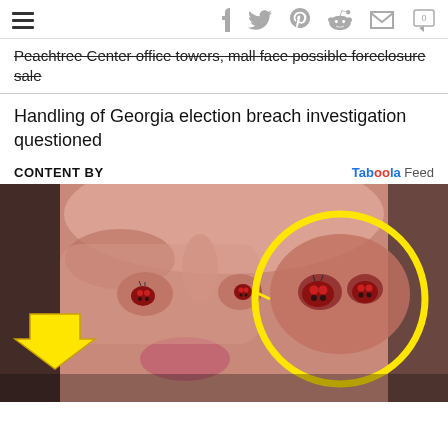Navigation header with hamburger menu and social icons: Facebook, Twitter, Pinterest, Reddit, Mail, Comments (0)
Peachtree Center office towers, mall face possible foreclosure sale
Handling of Georgia election breach investigation questioned
CONTENT BY  Taboola Feed
[Figure (photo): Close-up photo of a person's face showing nose area with small red ladybug-like insects. A large yellow arrow points to the left nostril area. A yellow circle enlarges/highlights the right nostril area showing similar insects up close.]